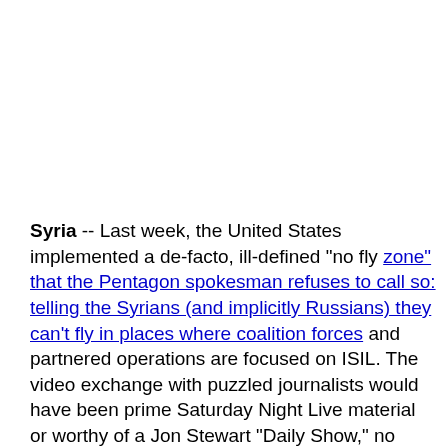Syria -- Last week, the United States implemented a de-facto, ill-defined "no fly zone" that the Pentagon spokesman refuses to call so: telling the Syrians (and implicitly Russians) they can't fly in places where coalition forces and partnered operations are focused on ISIL. The video exchange with puzzled journalists would have been prime Saturday Night Live material or worthy of a Jon Stewart "Daily Show," no editing needed: he doesn't actually clarify who coalition forces or potential partners are, where these forces